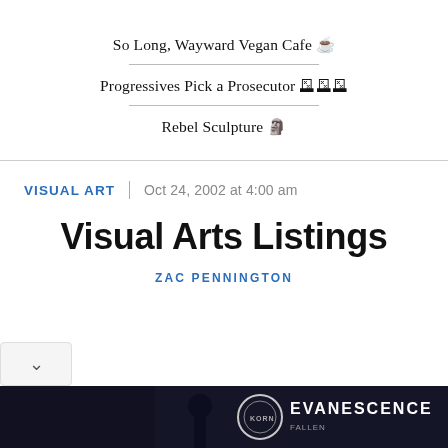So Long, Wayward Vegan Cafe ☕
Progressives Pick a Prosecutor 🗳️
Rebel Sculpture 🗿
VISUAL ART
Oct 24, 2002 at 4:00 am
Visual Arts Listings
ZAC PENNINGTON
[Figure (photo): Dark advertisement banner for Evanescence, showing a silhouetted figure against a starry background with a circular logo and the text EVANESCENCE]